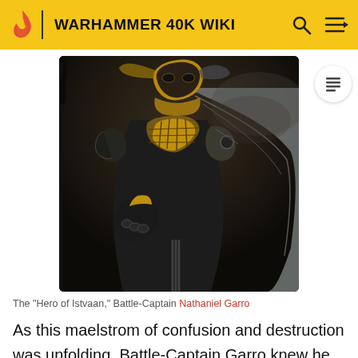WARHAMMER 40K WIKI
[Figure (illustration): Dark fantasy artwork depicting a Battle-Captain in ornate black and gold power armor, holding a weapon, wearing a flowing grey cloak. Golden helmet and detailed armored gauntlets visible.]
The "Hero of Istvaan," Battle-Captain Nathaniel Garro
As this maelstrom of confusion and destruction was unfolding, Battle-Captain Garro knew he must somehow